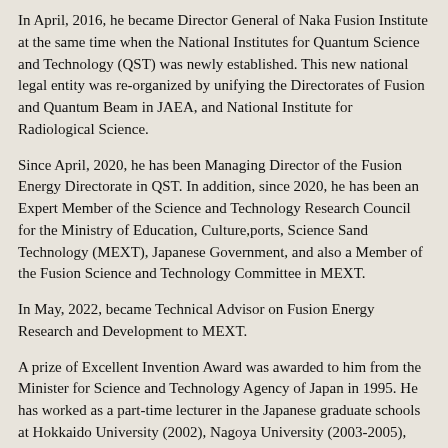In April, 2016, he became Director General of Naka Fusion Institute at the same time when the National Institutes for Quantum Science and Technology (QST) was newly established. This new national legal entity was re-organized by unifying the Directorates of Fusion and Quantum Beam in JAEA, and National Institute for Radiological Science.
Since April, 2020, he has been Managing Director of the Fusion Energy Directorate in QST. In addition, since 2020, he has been an Expert Member of the Science and Technology Research Council for the Ministry of Education, Culture,ports, Science Sand Technology (MEXT), Japanese Government, and also a Member of the Fusion Science and Technology Committee in MEXT.
In May, 2022, became Technical Advisor on Fusion Energy Research and Development to MEXT.
A prize of Excellent Invention Award was awarded to him from the Minister for Science and Technology Agency of Japan in 1995. He has worked as a part-time lecturer in the Japanese graduate schools at Hokkaido University (2002), Nagoya University (2003-2005), and Kyushu University (2009).
Dr. Kurihara can be reached at his new email address: kurihara.kenichi@hb.tp1.jp